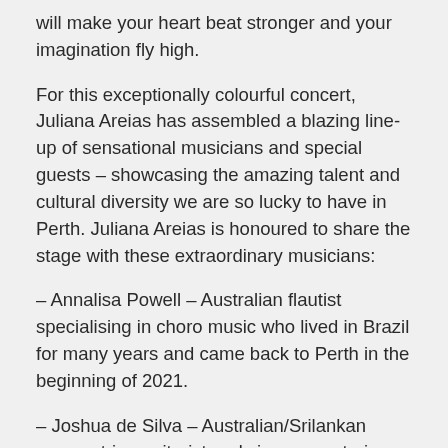will make your heart beat stronger and your imagination fly high.
For this exceptionally colourful concert, Juliana Areias has assembled a blazing line-up of sensational musicians and special guests – showcasing the amazing talent and cultural diversity we are so lucky to have in Perth. Juliana Areias is honoured to share the stage with these extraordinary musicians:
– Annalisa Powell – Australian flautist specialising in choro music who lived in Brazil for many years and came back to Perth in the beginning of 2021.
– Joshua de Silva – Australian/Srilankan seven-string guitarist and singer, mastering Brazilian hybrid fingertip style that combines bass and guitar sounds together.
– Brenton Ainsworth – Australian drummer, distinctive